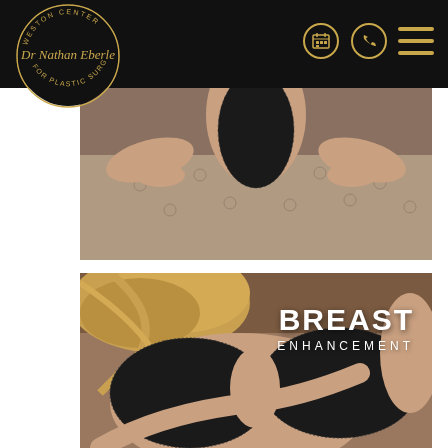Dr Nathan Eberle – Weston Center for Plastic Surgery
[Figure (photo): Header navigation bar with logo circle (Weston Center for Plastic Surgery / Dr Nathan Eberle), calendar icon, phone icon, and hamburger menu on black background]
[Figure (photo): Woman in black lace bodysuit from behind, leaning on tufted furniture]
[Figure (photo): Close-up of woman in black lace bra with overlay text BREAST ENHANCEMENT]